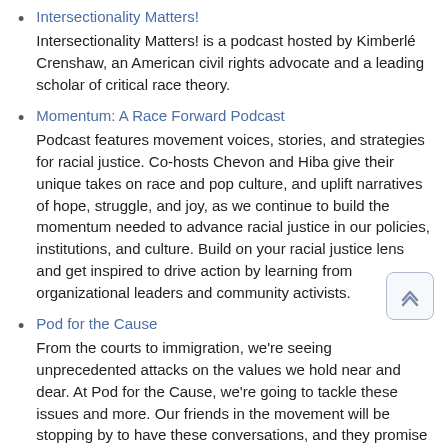Intersectionality Matters! — Intersectionality Matters! is a podcast hosted by Kimberlé Crenshaw, an American civil rights advocate and a leading scholar of critical race theory.
Momentum: A Race Forward Podcast — Podcast features movement voices, stories, and strategies for racial justice. Co-hosts Chevon and Hiba give their unique takes on race and pop culture, and uplift narratives of hope, struggle, and joy, as we continue to build the momentum needed to advance racial justice in our policies, institutions, and culture. Build on your racial justice lens and get inspired to drive action by learning from organizational leaders and community activists.
Pod for the Cause — From the courts to immigration, we're seeing unprecedented attacks on the values we hold near and dear. At Pod for the Cause, we're going to tackle these issues and more. Our friends in the movement will be stopping by to have these conversations, and they promise to be real, straightforward and honest.
This podcast was created for those of you wanting to effect change, who understand the importance of restoring our democracy and want